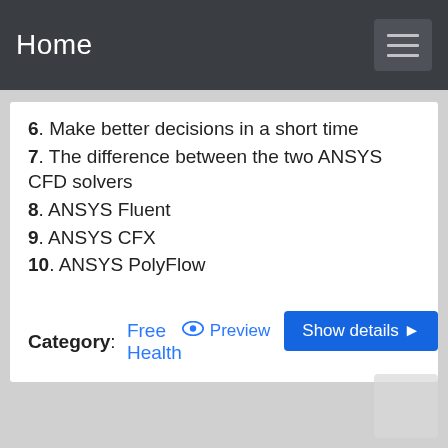Home
6. Make better decisions in a short time
7. The difference between the two ANSYS CFD solvers
8. ANSYS Fluent
9. ANSYS CFX
10. ANSYS PolyFlow
Category: Free Health
Preview  Show details